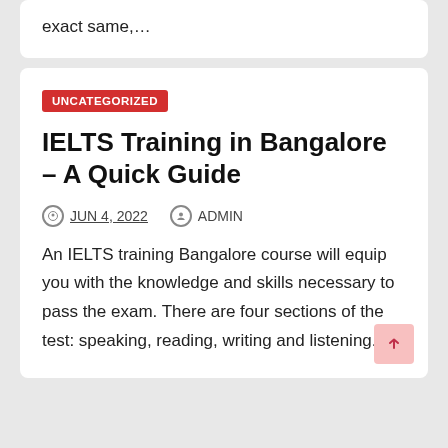exact same,…
UNCATEGORIZED
IELTS Training in Bangalore – A Quick Guide
JUN 4, 2022   ADMIN
An IELTS training Bangalore course will equip you with the knowledge and skills necessary to pass the exam. There are four sections of the test: speaking, reading, writing and listening….